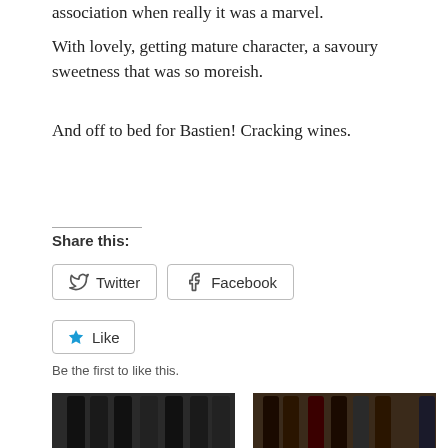association when really it was a marvel. With lovely, getting mature character, a savoury sweetness that was so moreish.
And off to bed for Bastien! Cracking wines.
Share this:
Twitter
Facebook
Like
Be the first to like this.
[Figure (photo): Two dark photos side by side showing wine bottles arranged on a surface.]